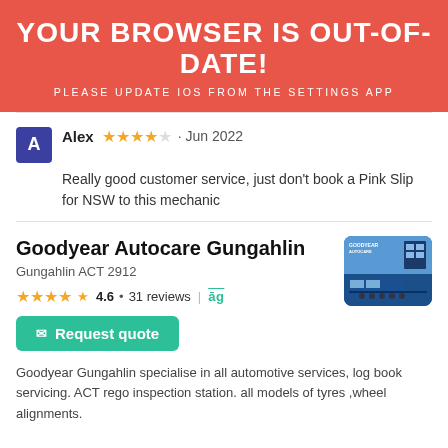YOUR BROWSER IS OUT-OF-DATE!
PLEASE UPDATE IOS FROM THE SETTINGS APP
Alex ★★★★☆ · Jun 2022
Really good customer service, just don't book a Pink Slip for NSW to this mechanic
Goodyear Autocare Gungahlin
Gungahlin ACT 2912
[Figure (photo): Goodyear Autocare store front with staff]
★★★★½ 4.6 • 31 reviews | āg
Request quote
Goodyear Gungahlin specialise in all automotive services, log book servicing. ACT rego inspection station. all models of tyres ,wheel alignments.